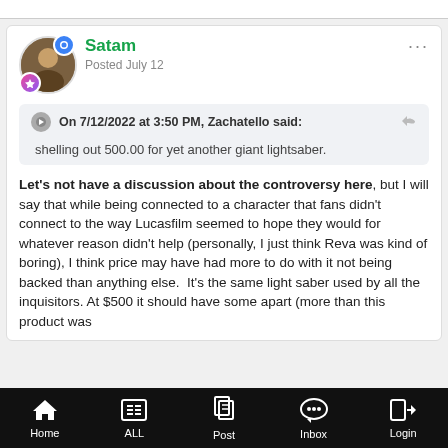Satam
Posted July 12
On 7/12/2022 at 3:50 PM, Zachatello said:
shelling out 500.00 for yet another giant lightsaber.
Let's not have a discussion about the controversy here, but I will say that while being connected to a character that fans didn't connect to the way Lucasfilm seemed to hope they would for whatever reason didn't help (personally, I just think Reva was kind of boring), I think price may have had more to do with it not being backed than anything else.  It's the same light saber used by all the inquisitors. At $500 it should have some apart (more than this product was
Home  ALL  Post  Inbox  Login